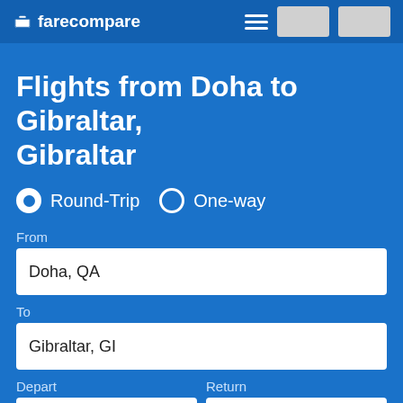farecompare
Flights from Doha to Gibraltar, Gibraltar
Round-Trip  One-way
From
Doha, QA
To
Gibraltar, GI
Depart
Return
Depart
Return
1 traveler
Nonstop